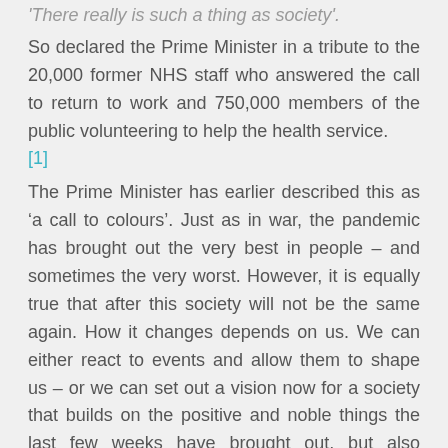'There really is such a thing as society'.
So declared the Prime Minister in a tribute to the 20,000 former NHS staff who answered the call to return to work and 750,000 members of the public volunteering to help the health service. [1]
The Prime Minister has earlier described this as ‘a call to colours’. Just as in war, the pandemic has brought out the very best in people – and sometimes the very worst. However, it is equally true that after this society will not be the same again. How it changes depends on us. We can either react to events and allow them to shape us – or we can set out a vision now for a society that builds on the positive and noble things the last few weeks have brought out, but also addresses some of the underlying weaknesses the pandemic has exposed.
Freedom under the law. It would be all too easy for some of the draconian emergency measures we have chosen to accept during this crisis to be cited as precedents by some future government intent on imposing its own agenda. We must be clear, in this country, unlike some parts of continental Europe, you are free to do anything unless the law specifically forbids it.